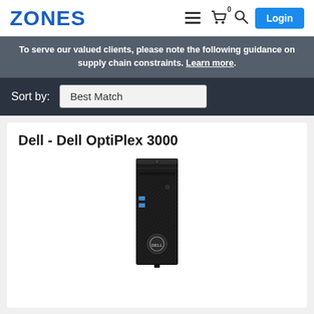ZONES | Login
To serve our valued clients, please note the following guidance on supply chain constraints. Learn more.
Sort by: Best Match
Dell - Dell OptiPlex 3000
[Figure (photo): Dell OptiPlex 3000 mini desktop PC standing vertically, black chassis with carbon fiber-like texture, USB ports, power button, and Dell logo on front panel]